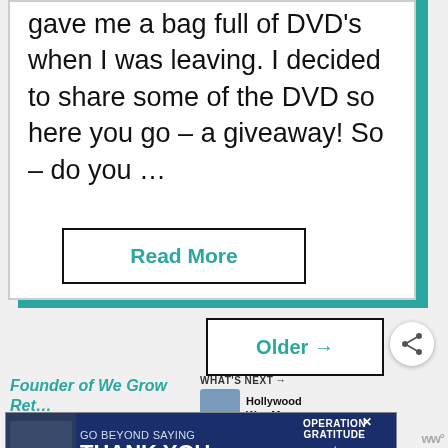gave me a bag full of DVD's when I was leaving. I decided to share some of the DVD so here you go – a giveaway! So – do you …
Read More
Older →
WHAT'S NEXT →
Hollywood Wax Museu...
Founder of We Grow Ret…
GO BEYOND SAYING THANK YOU  OPERATION GRATITUDE ★ JOIN US ★